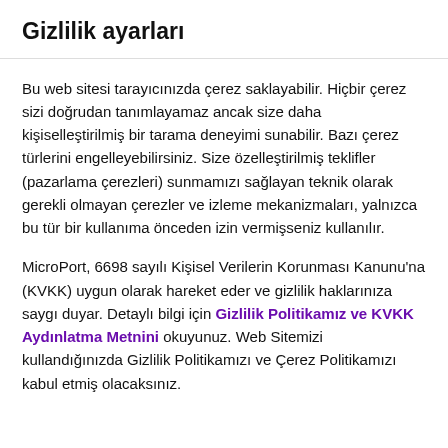Gizlilik ayarları
Bu web sitesi tarayıcınızda çerez saklayabilir. Hiçbir çerez sizi doğrudan tanımlayamaz ancak size daha kişiselleştirilmiş bir tarama deneyimi sunabilir. Bazı çerez türlerini engelleyebilirsiniz. Size özelleştirilmiş teklifler (pazarlama çerezleri) sunmamızı sağlayan teknik olarak gerekli olmayan çerezler ve izleme mekanizmaları, yalnızca bu tür bir kullanıma önceden izin vermişseniz kullanılır.
MicroPort, 6698 sayılı Kişisel Verilerin Korunması Kanunu'na (KVKK) uygun olarak hareket eder ve gizlilik haklarınıza saygı duyar. Detaylı bilgi için Gizlilik Politikamız ve KVKK Aydınlatma Metnini okuyunuz. Web Sitemizi kullandığınızda Gizlilik Politikamızı ve Çerez Politikamızı kabul etmiş olacaksınız.